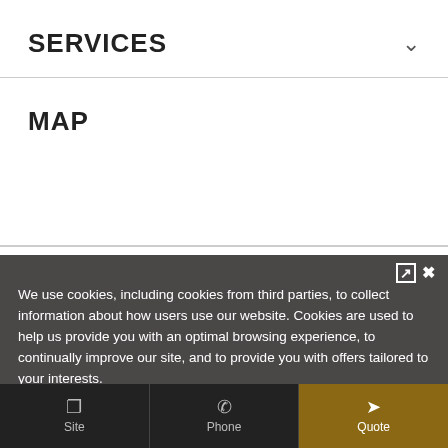SERVICES
MAP
We use cookies, including cookies from third parties, to collect information about how users use our website. Cookies are used to help us provide you with an optimal browsing experience, to continually improve our site, and to provide you with offers tailored to your interests.

By clicking on the "Accept" button, you are agreeing to the use of all cookies. If you close this banner, only technical and analytical cookies will be used for which your consent is not required. You can revoke your consent to all or some cookies at any time by clicking on the "Cookie Preferences" button, also accessible in the footer of the site. Detailed information on the use of cookies can be found in our privacy and cookie policy.
Site  Phone  Quote